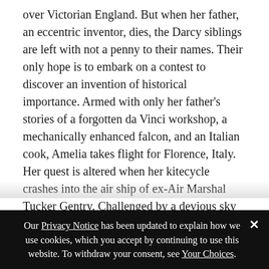over Victorian England. But when her father, an eccentric inventor, dies, the Darcy siblings are left with not a penny to their names. Their only hope is to embark on a contest to discover an invention of historical importance. Armed with only her father's stories of a forgotten da Vinci workshop, a mechanically enhanced falcon, and an Italian cook, Amelia takes flight for Florence, Italy. Her quest is altered when her kitecycle crashes into the air ship of ex-Air Marshal Tucker Gentry. Challenged by a devious sky pirate and their own sizzling attraction, Amelia and Tuck are dragged into an international conspiracy that could change the course of history, again.
Our Privacy Notice has been updated to explain how we use cookies, which you accept by continuing to use this website. To withdraw your consent, see Your Choices.